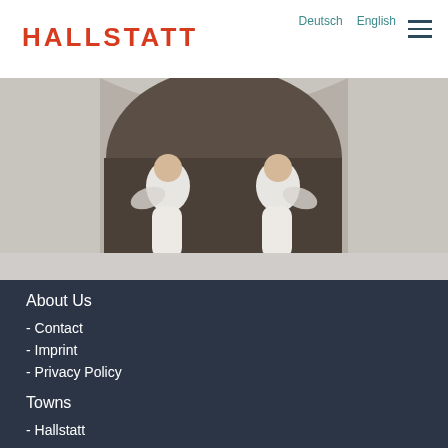HALLSTATT
Deutsch  English
[Figure (photo): Two people in white clothing sitting in a cave or rocky alcove]
About Us
- Contact
- Imprint
- Privacy Policy
Towns
- Hallstatt
- Bad Goisern
- Gosau
- Obertraun